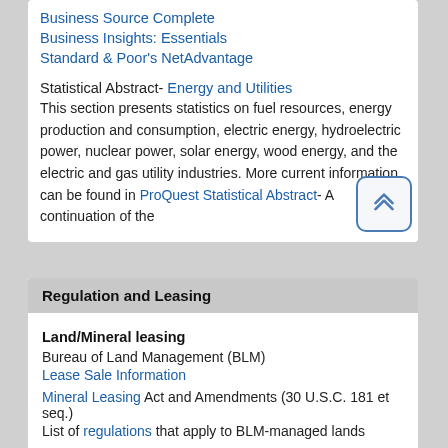Business Source Complete
Business Insights: Essentials
Standard & Poor's NetAdvantage
Statistical Abstract- Energy and Utilities
This section presents statistics on fuel resources, energy production and consumption, electric energy, hydroelectric power, nuclear power, solar energy, wood energy, and the electric and gas utility industries. More current information can be found in ProQuest Statistical Abstract- A continuation of the
Regulation and Leasing
Land/Mineral leasing
Bureau of Land Management (BLM)
Lease Sale Information
Mineral Leasing Act and Amendments (30 U.S.C. 181 et seq.)
List of regulations that apply to BLM-managed lands
BLM State Energy Pages